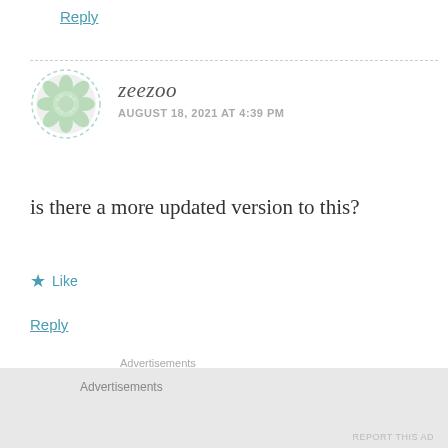Reply
zeezoo
AUGUST 18, 2021 AT 4:39 PM
is there a more updated version to this?
★ Like
Reply
Advertisements
[Figure (screenshot): WordPress advertisement banner with WordPress logo and phone mockup on blue-green gradient background]
Advertisements